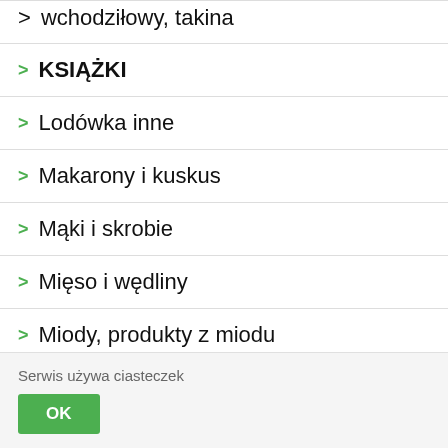KSIĄŻKI
Lodówka inne
Makarony i kuskus
Mąki i skrobie
Mięso i wędliny
Miody, produkty z miodu
Serwis używa ciasteczek
OK